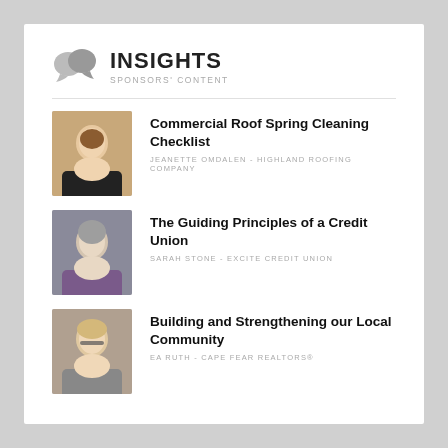INSIGHTS
SPONSORS' CONTENT
Commercial Roof Spring Cleaning Checklist
JEANETTE OMDALEN - HIGHLAND ROOFING COMPANY
The Guiding Principles of a Credit Union
SARAH STONE - EXCITE CREDIT UNION
Building and Strengthening our Local Community
EA RUTH - CAPE FEAR REALTORS®